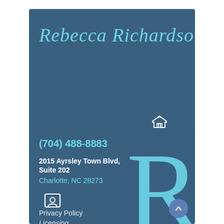Rebecca Richardson
[Figure (logo): Equal housing opportunity house icon]
(704) 488-8883
2015 Ayrsley Town Blvd, Suite 202
Charlotte, NC 28273
[Figure (logo): Homesnap/real estate app logo icon]
Privacy Policy
Licensing
[Figure (illustration): Large decorative cursive letter R watermark in light blue]
[Figure (other): Scroll-to-top circular button with chevron arrow]